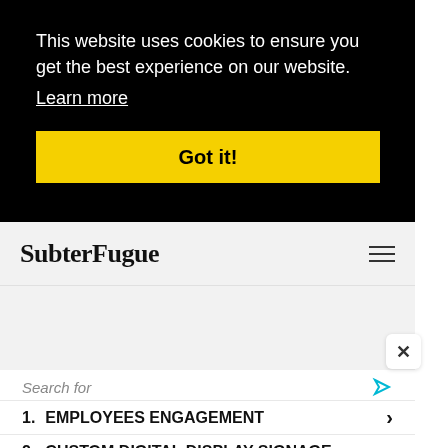This website uses cookies to ensure you get the best experience on our website.
Learn more
Got it!
SubterFugue
[Figure (screenshot): Gray content area with close button (x)]
Search for
1. EMPLOYEES ENGAGEMENT
2. CUSTOM DIGITAL DISPLAY SIGNAGE
Yahoo! Search | Sponsored